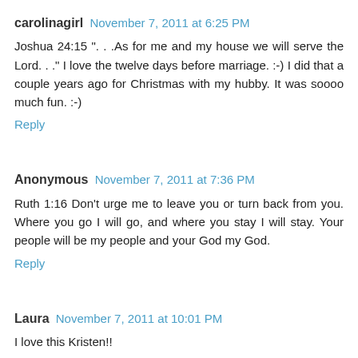carolinagirl November 7, 2011 at 6:25 PM
Joshua 24:15 ". . .As for me and my house we will serve the Lord. . ." I love the twelve days before marriage. :-) I did that a couple years ago for Christmas with my hubby. It was soooo much fun. :-)
Reply
Anonymous November 7, 2011 at 7:36 PM
Ruth 1:16 Don't urge me to leave you or turn back from you. Where you go I will go, and where you stay I will stay. Your people will be my people and your God my God.
Reply
Laura November 7, 2011 at 10:01 PM
I love this Kristen!!
Ephesians 5:1 2, 21-33